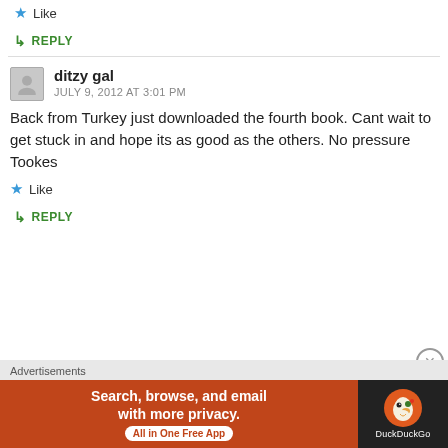Like
↳ REPLY
ditzy gal
JULY 9, 2012 AT 3:01 PM
Back from Turkey just downloaded the fourth book. Cant wait to get stuck in and hope its as good as the others. No pressure Tookes
Like
↳ REPLY
[Figure (infographic): DuckDuckGo advertisement banner: 'Search, browse, and email with more privacy. All in One Free App' on an orange-red background, with DuckDuckGo duck logo on dark background on the right.]